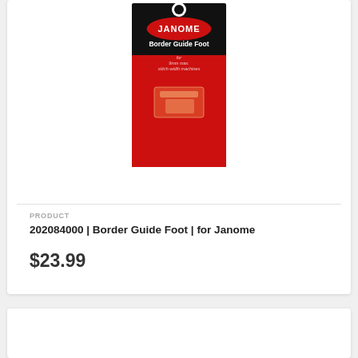[Figure (photo): Janome Border Guide Foot product packaging — black top with red oval Janome logo, title 'Border Guide Foot', subtitle 'for 9mm max. stitch width machines', red lower half showing sewing foot illustration]
PRODUCT
202084000 | Border Guide Foot | for Janome
$23.99
[Figure (photo): Janome AcuFeed Ditch Quilting Foot product packaging — black and red with '9mm/AcuFeed' header, Janome logo oval, 'AcuFeed Ditch Quilting Foot for 9mm max. stitch width machines with dual feed']